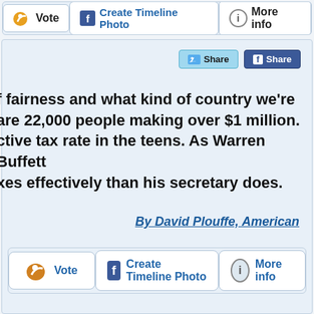[Figure (screenshot): Top partial UI bar with Vote, Create Timeline Photo, and More info buttons (cropped at top of page)]
[Figure (screenshot): Social share buttons: Twitter Share and Facebook Share]
f fairness and what kind of country we're are 22,000 people making over $1 million. ctive tax rate in the teens. As Warren Buffett xes effectively than his secretary does.
By David Plouffe, American
[Figure (screenshot): Bottom action bar with Vote, Create Timeline Photo, and More info buttons]